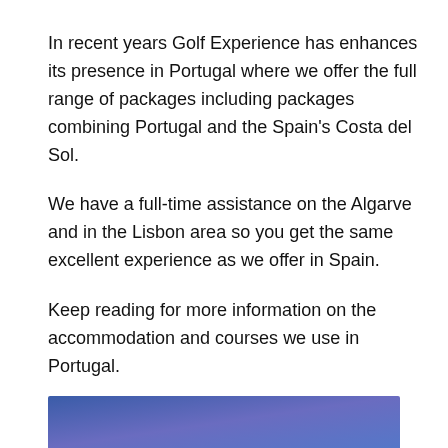In recent years Golf Experience has enhances its presence in Portugal where we offer the full range of packages including packages combining Portugal and the Spain's Costa del Sol.
We have a full-time assistance on the Algarve and in the Lisbon area so you get the same excellent experience as we offer in Spain.
Keep reading for more information on the accommodation and courses we use in Portugal.
[Figure (photo): Blue gradient image strip at the bottom of the page, likely a landscape or decorative photo with blue/purple tones.]